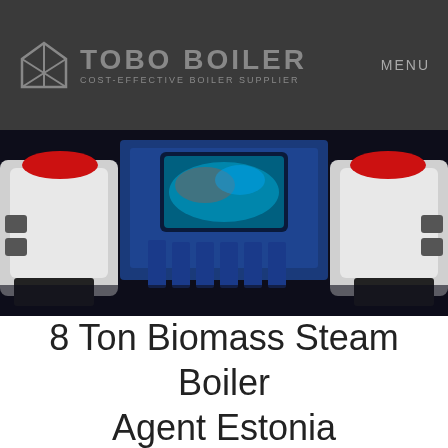TOBO BOILER COST-EFFECTIVE BOILER SUPPLIER | MENU
[Figure (photo): Industrial biomass steam boiler unit shown from front angle, with blue structural frame, white and red components, displayed against dark background]
8 Ton Biomass Steam Boiler Agent Estonia